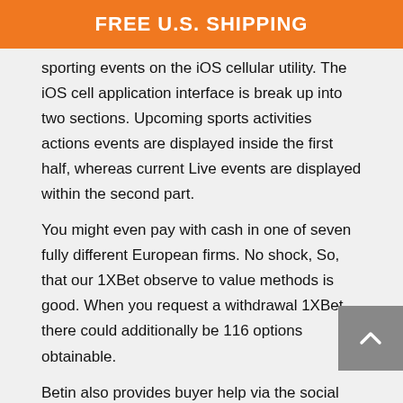FREE U.S. SHIPPING
sporting events on the iOS cellular utility. The iOS cell application interface is break up into two sections. Upcoming sports activities actions events are displayed inside the first half, whereas current Live events are displayed within the second part.
You might even pay with cash in one of seven fully different European firms. No shock, So, that our 1XBet observe to value methods is good. When you request a withdrawal 1XBet, there could additionally be 116 options obtainable.
Betin also provides buyer help via the social networking sites Twitter, Instagram, and Facebook. The best features of 1xBet Kenya are its apps, daily jackpots, bonus offers, profitable promotions, and excellent buyer assist. You can select from a hundred and sixty strategies together with digital wallets, bank playing cards, cell payment options, and cryptocurrencies. You can also use popular Kenyan methods corresponding to Airtel Money